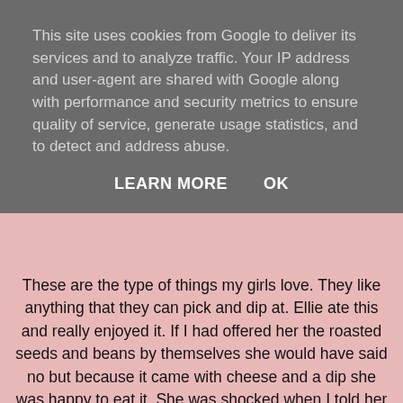This site uses cookies from Google to deliver its services and to analyze traffic. Your IP address and user-agent are shared with Google along with performance and security metrics to ensure quality of service, generate usage statistics, and to detect and address abuse.
LEARN MORE    OK
These are the type of things my girls love. They like anything that they can pick and dip at. Ellie ate this and really enjoyed it. If I had offered her the roasted seeds and beans by themselves she would have said no but because it came with cheese and a dip she was happy to eat it. She was shocked when I told her what the seeds and beans were: roasted broad beans, pumpkin seeds, giant corn, green peas and yellow peas.
Eatlean Cheese Bake.
Eatlean Cheese Bake gives you a perfect blend of